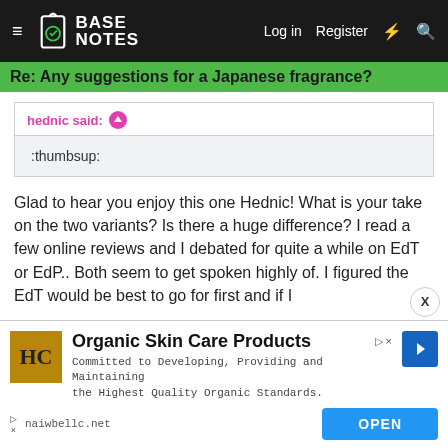BASE NOTES — Log in  Register
Re: Any suggestions for a Japanese fragrance?
hednic said:
:thumbsup:
Glad to hear you enjoy this one Hednic! What is your take on the two variants? Is there a huge difference? I read a few online reviews and I debated for quite a while on EdT or EdP.. Both seem to get spoken highly of. I figured the EdT would be best to go for first and if I
Organic Skin Care Products
Committed to Developing, Providing and Maintaining the Highest Quality Organic Standards.
naiwbellc.net  OPEN